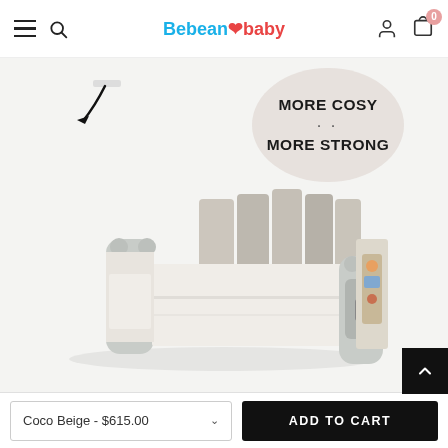Bebean baby — navigation header with menu, search, logo, user, and cart icons
[Figure (photo): Baby playpen/gate product photo: a large square modular plastic play yard in beige and grey tones, with panel connectors. An arrow annotation points to a connection detail. A circular badge reads MORE COSY MORE STRONG in the upper right corner.]
EMOTIONAL DESIGN
Coco Beige - $615.00
ADD TO CART